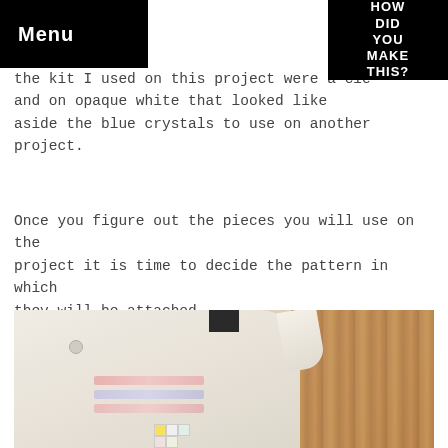Menu | HOW DID YOU MAKE THIS?
the kit I used on this project were a cle and on opaque white that looked like aside the blue crystals to use on another project.
Once you figure out the pieces you will use on the project it is time to decide the pattern in which they will be attached.
[Figure (photo): A white collared shirt laid flat on a wooden surface, with rows of small pink/crystal rhinestones arranged on the shirt front, and colorful paper swatches at the bottom.]